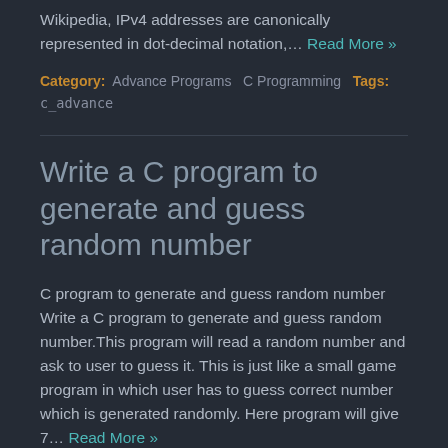Wikipedia, IPv4 addresses are canonically represented in dot-decimal notation,… Read More »
Category: Advance Programs  C Programming  Tags: c_advance
Write a C program to generate and guess random number
C program to generate and guess random number Write a C program to generate and guess random number.This program will read a random number and ask to user to guess it. This is just like a small game program in which user has to guess correct number which is generated randomly. Here program will give 7… Read More »